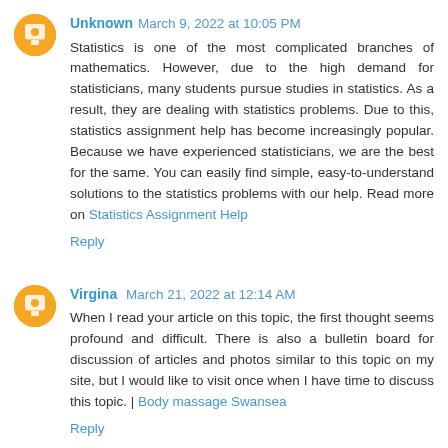Unknown March 9, 2022 at 10:05 PM
Statistics is one of the most complicated branches of mathematics. However, due to the high demand for statisticians, many students pursue studies in statistics. As a result, they are dealing with statistics problems. Due to this, statistics assignment help has become increasingly popular. Because we have experienced statisticians, we are the best for the same. You can easily find simple, easy-to-understand solutions to the statistics problems with our help. Read more on Statistics Assignment Help
Reply
Virgina March 21, 2022 at 12:14 AM
When I read your article on this topic, the first thought seems profound and difficult. There is also a bulletin board for discussion of articles and photos similar to this topic on my site, but I would like to visit once when I have time to discuss this topic. | Body massage Swansea
Reply